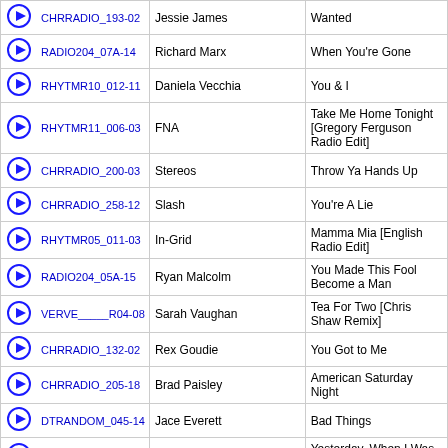|  | Track ID | Artist | Song |
| --- | --- | --- | --- |
| ▶ | CHRRADIO_193-02 | Jessie James | Wanted |
| ▶ | RADIO204_07A-14 | Richard Marx | When You're Gone |
| ▶ | RHYTMR10_012-11 | Daniela Vecchia | You & I |
| ▶ | RHYTMR11_006-03 | FNA | Take Me Home Tonight [Gregory Ferguson Radio Edit] |
| ▶ | CHRRADIO_200-03 | Stereos | Throw Ya Hands Up |
| ▶ | CHRRADIO_258-12 | Slash | You're A Lie |
| ▶ | RHYTMR05_011-03 | In-Grid | Mamma Mia [English Radio Edit] |
| ▶ | RADIO204_05A-15 | Ryan Malcolm | You Made This Fool Become a Man |
| ▶ | VERVE_____R04-08 | Sarah Vaughan | Tea For Two [Chris Shaw Remix] |
| ▶ | CHRRADIO_132-02 | Rex Goudie | You Got to Me |
| ▶ | CHRRADIO_205-18 | Brad Paisley | American Saturday Night |
| ▶ | DTRANDOM_045-14 | Jace Everett | Bad Things |
| ▶ | PETSHOPB_VRY-06 | Pet Shop Boys | Yesterday, When I Was Mad |
| ▶ | CHRRADIO_237-01 | Lady GaGa | Judas |
| ▶ | RHYTMR10_011-14 | Sky Ferreira | Obsession [Mike Rizzo Funk Generation Radio Mix] |
| ▶ | RHYTMR09_009-07 | Britney Spears | Radar [Manhattan Clique UHF Radio Mix] |
| ▶ | HOTSTUFF_006-01 | Santana & Michelle Branch | Game of Love |
| ▶ | RADIO098_07A-05 | Smash Mouth | Can't Get Enough of You Baby |
| ▶ | CHRRADIO_192-04 | Stereos | Summer Girl |
| ▶ | RHYTMR08_005-08 | Freezepop | Brainpower [Mark Saunders |